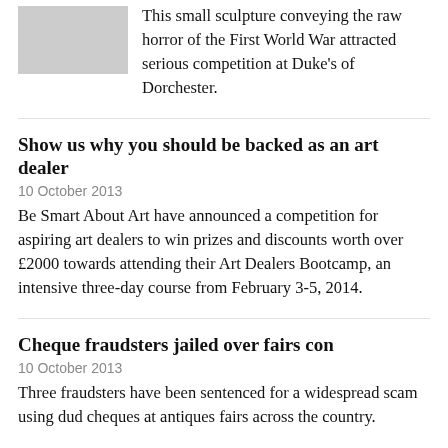[Figure (photo): Small thumbnail image, appears to be a black and white photo of a sculpture]
This small sculpture conveying the raw horror of the First World War attracted serious competition at Duke's of Dorchester.
Show us why you should be backed as an art dealer
10 October 2013
Be Smart About Art have announced a competition for aspiring art dealers to win prizes and discounts worth over £2000 towards attending their Art Dealers Bootcamp, an intensive three-day course from February 3-5, 2014.
Cheque fraudsters jailed over fairs con
10 October 2013
Three fraudsters have been sentenced for a widespread scam using dud cheques at antiques fairs across the country.